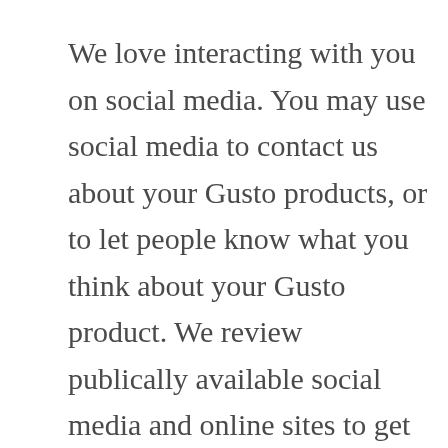We love interacting with you on social media. You may use social media to contact us about your Gusto products, or to let people know what you think about your Gusto product. We review publically available social media and online sites to get a better understanding of what people are saying about us, and our products, technology and services and to assist consumers who prefer to contact us through social media.

The information we collect from social media and online sites, including Facebook, YouTube, Twitter, Pinterest, Line and Snapchat